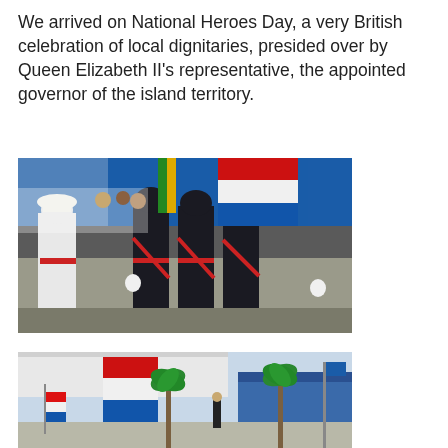We arrived on National Heroes Day, a very British celebration of local dignitaries, presided over by Queen Elizabeth II's representative,  the appointed governor of the island territory.
[Figure (photo): Military parade on National Heroes Day: soldiers in dark uniforms with red trim and white gloves marching in formation; one officer in white uniform and pith helmet; flags including red/white/blue striped flag visible in background; blue tents and crowd.]
[Figure (photo): Outdoor ceremony scene with palm trees, flags including red/white/blue striped flag, white tent canopy, blue building in background, people standing in distance.]